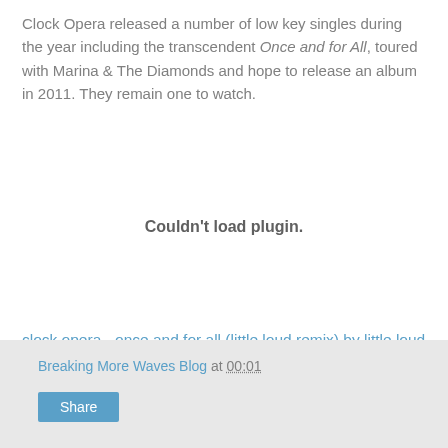Clock Opera released a number of low key singles during the year including the transcendent Once and for All, toured with Marina & The Diamonds and hope to release an album in 2011. They remain one to watch.
[Figure (other): Embedded media plugin area showing 'Couldn't load plugin.' message]
clock opera - once and for all (little loud remix) by little loud
Breaking More Waves Blog at 00:01
Share